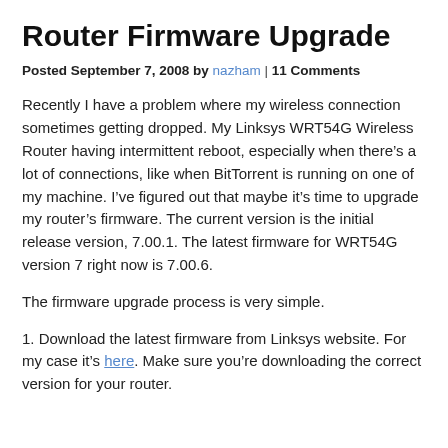Router Firmware Upgrade
Posted September 7, 2008 by nazham | 11 Comments
Recently I have a problem where my wireless connection sometimes getting dropped. My Linksys WRT54G Wireless Router having intermittent reboot, especially when there’s a lot of connections, like when BitTorrent is running on one of my machine. I’ve figured out that maybe it’s time to upgrade my router’s firmware. The current version is the initial release version, 7.00.1. The latest firmware for WRT54G version 7 right now is 7.00.6.
The firmware upgrade process is very simple.
1. Download the latest firmware from Linksys website. For my case it’s here. Make sure you’re downloading the correct version for your router.